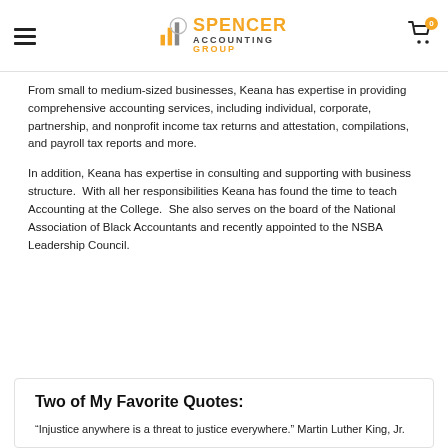Spencer Accounting Group — Navigation header with logo and cart
From small to medium-sized businesses, Keana has expertise in providing comprehensive accounting services, including individual, corporate, partnership, and nonprofit income tax returns and attestation, compilations, and payroll tax reports and more.
In addition, Keana has expertise in consulting and supporting with business structure.  With all her responsibilities Keana has found the time to teach Accounting at the College.  She also serves on the board of the National Association of Black Accountants and recently appointed to the NSBA Leadership Council.
Two of My Favorite Quotes:
“Injustice anywhere is a threat to justice everywhere.” Martin Luther King, Jr.